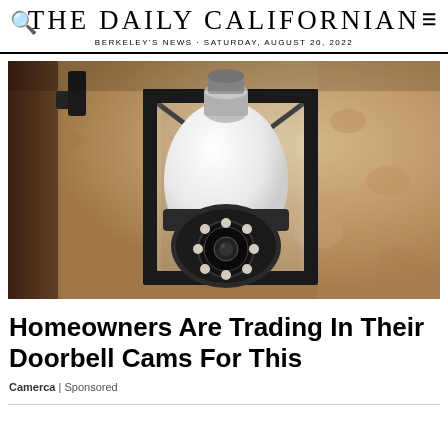THE DAILY CALIFORNIAN
BERKELEY'S NEWS · SATURDAY, AUGUST 20, 2022
[Figure (photo): A security camera bulb installed inside a traditional black outdoor lantern fixture mounted on a textured stucco wall. The camera bulb has a circular lens with LED ring lights visible at the bottom.]
Homeowners Are Trading In Their Doorbell Cams For This
Camerca | Sponsored